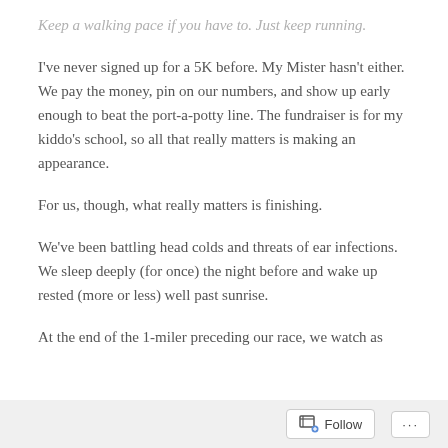Keep a walking pace if you have to. Just keep running.
I've never signed up for a 5K before. My Mister hasn't either. We pay the money, pin on our numbers, and show up early enough to beat the port-a-potty line. The fundraiser is for my kiddo's school, so all that really matters is making an appearance.
For us, though, what really matters is finishing.
We've been battling head colds and threats of ear infections. We sleep deeply (for once) the night before and wake up rested (more or less) well past sunrise.
At the end of the 1-miler preceding our race, we watch as
Follow ...